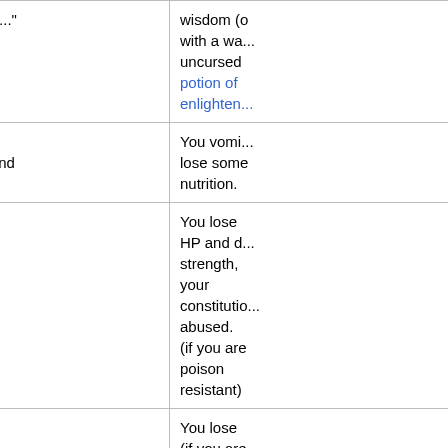| Probability | Message | Effect |
| --- | --- | --- |
| 1/30 | "knowledgeable..." "The feeling subsides..." | wisdom (... with a wa... uncursed potion of enlighten... |
| 1/30 | "The water is foul! You gag and vomit." | You vomi... lose some nutrition. |
| 1/30 | "The water is contaminated!" | You lose HP and d... strength, your constitutio... abused. (if you are poison resistant) |
|  | "Perhaps it is runoff from the | You lose (if you are |